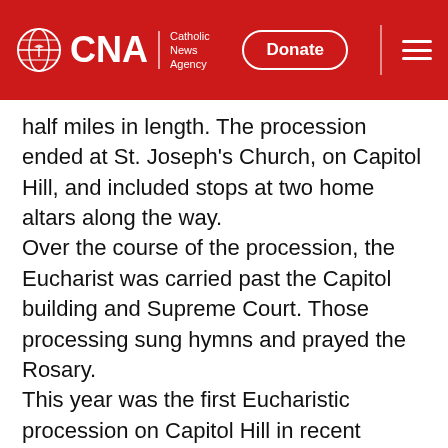CNA | Catholic News Agency — Donate
half miles in length. The procession ended at St. Joseph's Church, on Capitol Hill, and included stops at two home altars along the way.
Over the course of the procession, the Eucharist was carried past the Capitol building and Supreme Court. Those processing sung hymns and prayed the Rosary.
This year was the first Eucharistic procession on Capitol Hill in recent memory. Catholic Men United, a group that "exists to fight for the honor and purification of Christ's bride" also helped to organize the event. Pope is the